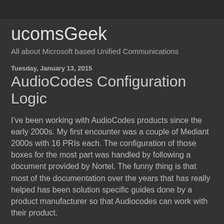ucomsGeek
All about Microsoft based Unified Communications
Tuesday, January 13, 2015
AudioCodes Configuration Logic
I've been working with AudioCodes products since the early 2000s. My first encounter was a couple of Mediant 2000s with 16 PRIs each. The configuration of those boxes for the most part was handled by following a document provided by Nortel. The funny thing is that most of the documentation over the years that has really helped has been solution specific guides done by a product manufacturer so that Audiocodes can work with their product.
The problem with Audiocodes is that its capabilities are so diverse and flexible that writing a single document that actually helps you through your specific configuration is